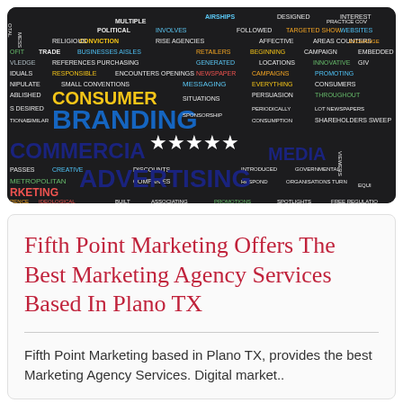[Figure (illustration): A marketing/advertising word cloud image on dark background featuring large words: BRANDING, ADVERTISING, COMMERCIAL, MEDIA, CONSUMER, and many smaller colorful marketing-related terms. Five white stars are visible in the center.]
Fifth Point Marketing Offers The Best Marketing Agency Services Based In Plano TX
Fifth Point Marketing based in Plano TX, provides the best Marketing Agency Services. Digital market..